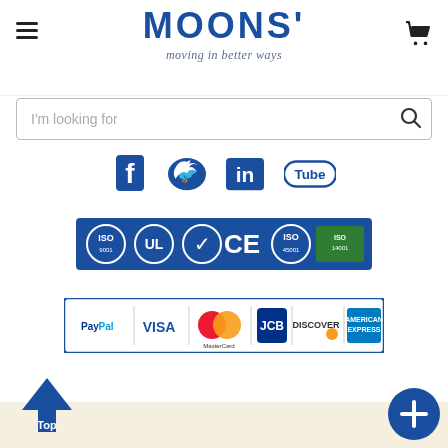MOONS' moving in better ways — site header with hamburger menu, logo, search bar, and cart icon
[Figure (logo): Social media icons row: Facebook (T), Twitter (bird), LinkedIn (in), YouTube (Tube)]
[Figure (logo): Certification badge banner: ISO, UL, checkmark, CE, ISO 45001, green badge on dark blue background]
[Figure (logo): Payment methods banner: PayPal, VISA, MasterCard, JCB, Discover, American Express on white background with blue border]
Top (back-to-top button) and + (action button)